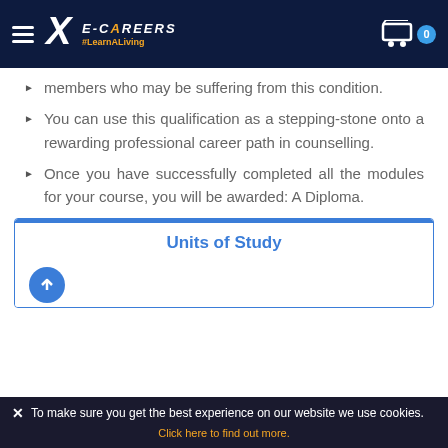E-CAREERS #LearnALiving
members who may be suffering from this condition.
You can use this qualification as a stepping-stone onto a rewarding professional career path in counselling.
Once you have successfully completed all the modules for your course, you will be awarded: A Diploma.
Units of Study
To make sure you get the best experience on our website we use cookies. Click here to find out more.